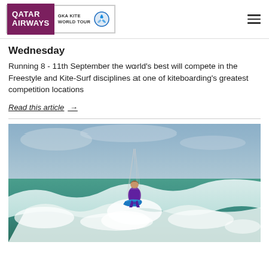Qatar Airways GKA Kite World Tour
Wednesday
Running 8 - 11th September the world's best will compete in the Freestyle and Kite-Surf disciplines at one of kiteboarding's greatest competition locations
Read this article →
[Figure (photo): Kitesurfer riding a wave in action, wearing a purple wetsuit on a blue board with kite lines visible above, white surf spray around them]